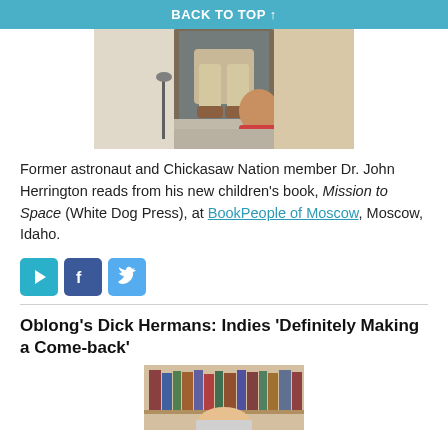BACK TO TOP ↑
[Figure (photo): A person sitting on stairs reading to a young child in a red shirt, viewed from behind]
Former astronaut and Chickasaw Nation member Dr. John Herrington reads from his new children's book, Mission to Space (White Dog Press), at BookPeople of Moscow, Moscow, Idaho.
[Figure (infographic): Social sharing icons: green play/share icon, Facebook icon, Twitter icon]
Oblong's Dick Hermans: Indies 'Definitely Making a Come-back'
[Figure (photo): Partial photo of a person in front of bookshelves]